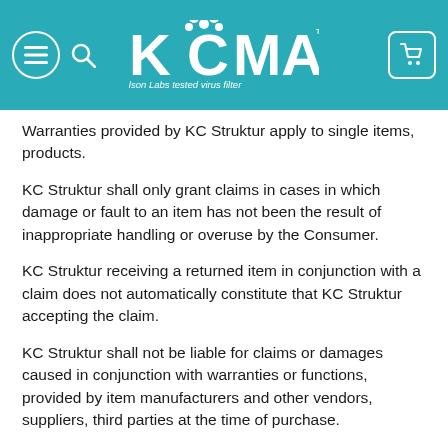KCMASK™ — Nelson Labs tested virus filter
Warranties provided by KC Struktur apply to single items, products.
KC Struktur shall only grant claims in cases in which damage or fault to an item has not been the result of inappropriate handling or overuse by the Consumer.
KC Struktur receiving a returned item in conjunction with a claim does not automatically constitute that KC Struktur accepting the claim.
KC Struktur shall not be liable for claims or damages caused in conjunction with warranties or functions, provided by item manufacturers and other vendors, suppliers, third parties at the time of purchase.